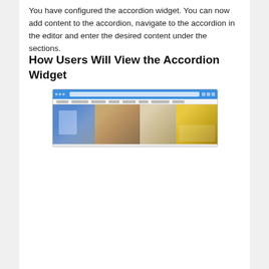You have configured the accordion widget. You can now add content to the accordion, navigate to the accordion in the editor and enter the desired content under the sections.
How Users Will View the Accordion Widget
[Figure (screenshot): Screenshot of a website showing a browser window with a blue navigation bar and a row of images depicting construction/home improvement scenes]